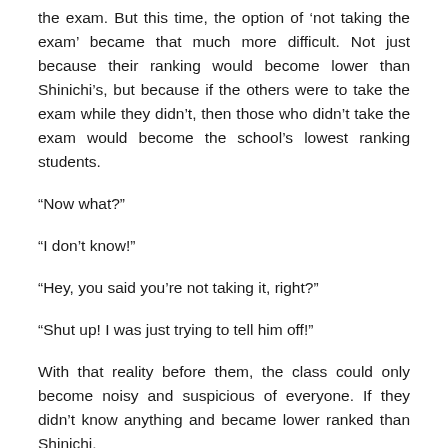the exam. But this time, the option of 'not taking the exam' became that much more difficult. Not just because their ranking would become lower than Shinichi's, but because if the others were to take the exam while they didn't, then those who didn't take the exam would become the school's lowest ranking students.
“Now what?”
“I don’t know!”
“Hey, you said you’re not taking it, right?”
“Shut up! I was just trying to tell him off!”
With that reality before them, the class could only become noisy and suspicious of everyone. If they didn't know anything and became lower ranked than Shinichi,